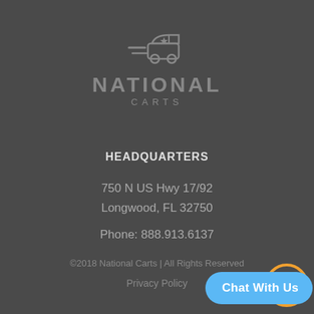[Figure (logo): National Carts logo: golf cart icon with speed lines and a star, above the text NATIONAL CARTS in gray on dark background]
HEADQUARTERS
750 N US Hwy 17/92
Longwood, FL 32750
Phone: 888.913.6137
©2018 National Carts | All Rights Reserved
Privacy Policy
[Figure (other): Chat With Us button (blue rounded rectangle with orange circle accent)]